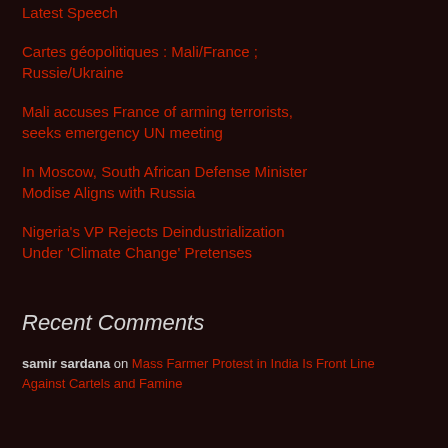Latest Speech
Cartes géopolitiques : Mali/France ; Russie/Ukraine
Mali accuses France of arming terrorists, seeks emergency UN meeting
In Moscow, South African Defense Minister Modise Aligns with Russia
Nigeria's VP Rejects Deindustrialization Under 'Climate Change' Pretenses
Recent Comments
samir sardana on Mass Farmer Protest in India Is Front Line Against Cartels and Famine